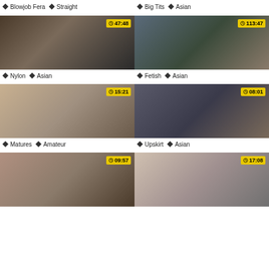Blowjob Fera  Straight
Big Tits  Asian
[Figure (photo): Video thumbnail with timer 47:48]
[Figure (photo): Video thumbnail with timer 113:47]
Nylon  Asian
Fetish  Asian
[Figure (photo): Video thumbnail with timer 15:21]
[Figure (photo): Video thumbnail with timer 08:01]
Matures  Amateur
Upskirt  Asian
[Figure (photo): Video thumbnail with timer 09:57]
[Figure (photo): Video thumbnail with timer 17:08]